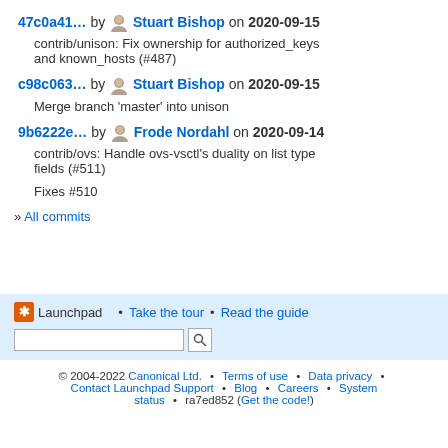47c0a41... by Stuart Bishop on 2020-09-15
contrib/unison: Fix ownership for authorized_keys and known_hosts (#487)
c98c063... by Stuart Bishop on 2020-09-15
Merge branch 'master' into unison
9b6222e... by Frode Nordahl on 2020-09-14
contrib/ovs: Handle ovs-vsctl's duality on list type fields (#511)
Fixes #510
» All commits
Launchpad • Take the tour • Read the guide [search box] © 2004-2022 Canonical Ltd. • Terms of use • Data privacy • Contact Launchpad Support • Blog • Careers • System status • ra7ed852 (Get the code!)